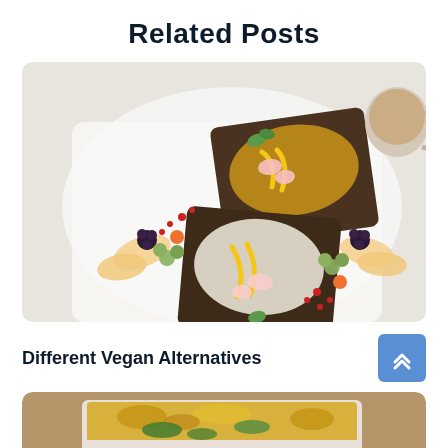Related Posts
[Figure (photo): Two slices of dark rye bread topped with hummus/cream cheese spreads, garnished with yellow pepper strips, radish slices, mint leaves, and fresh fruit including grapes, pomegranate seeds, blackberries, and apple slices on a white plate, with a cup of coffee in the background.]
Different Vegan Alternatives
[Figure (photo): A baked casserole dish with melted cheese and greens visible, partially shown at bottom of page.]